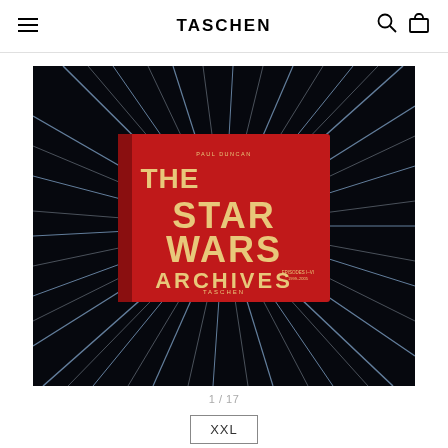TASCHEN
[Figure (photo): The Star Wars Archives book cover (Episodes I–VI, 1999–2005) shown against a star field / hyperspace background. The book has a red cover with gold lettering showing 'THE STAR WARS ARCHIVES'. Publisher: TASCHEN. Author: PAUL DUNCAN.]
1 / 17
XXL